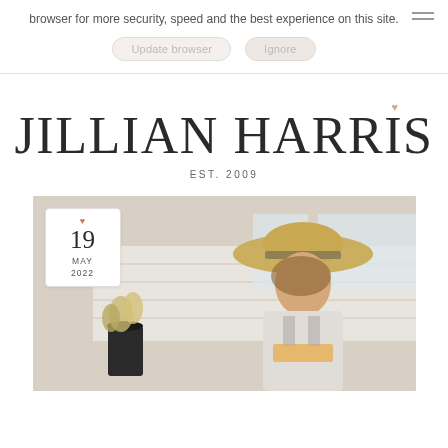browser for more security, speed and the best experience on this site.
Update browser   Ignore
JILLIAN HARRIS
EST. 2009
[Figure (photo): Woman wearing a wide-brim straw hat smiling in a bright room with white wooden walls, flowers in the foreground. Date card overlay shows 19 MAY 2022.]